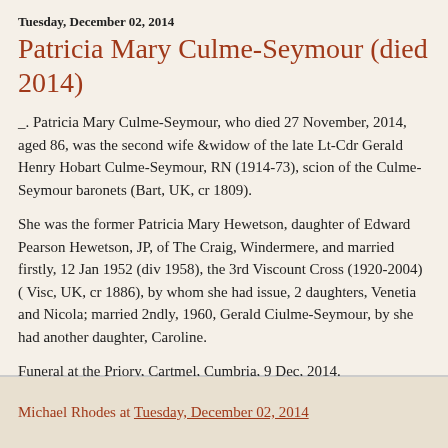Tuesday, December 02, 2014
Patricia Mary Culme-Seymour (died 2014)
_. Patricia Mary Culme-Seymour, who died 27 November, 2014, aged 86, was the second wife &widow of the late Lt-Cdr Gerald Henry Hobart Culme-Seymour, RN (1914-73), scion of the Culme-Seymour baronets (Bart, UK, cr 1809).
She was the former Patricia Mary Hewetson, daughter of Edward Pearson Hewetson, JP, of The Craig, Windermere, and married firstly, 12 Jan 1952 (div 1958), the 3rd Viscount Cross (1920-2004) ( Visc, UK, cr 1886), by whom she had issue, 2 daughters, Venetia and Nicola; married 2ndly, 1960, Gerald Ciulme-Seymour, by she had another daughter, Caroline.
Funeral at the Priory, Cartmel, Cumbria, 9 Dec, 2014.
-=-
Michael Rhodes at Tuesday, December 02, 2014